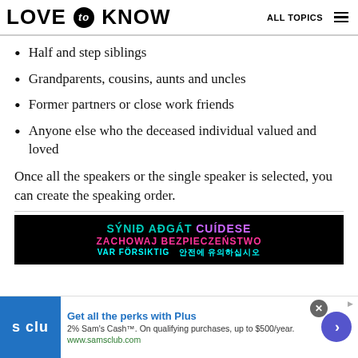LOVE to KNOW | ALL TOPICS
Half and step siblings
Grandparents, cousins, aunts and uncles
Former partners or close work friends
Anyone else who the deceased individual valued and loved
Once all the speakers or the single speaker is selected, you can create the speaking order.
[Figure (advertisement): Dark background advertisement with multilingual text: SÝNIÐ AÐGÁT CUÍDESE in teal/purple, ZACHOWAJ BEZPIECZEŃSTWO in pink/magenta, and partially visible foreign language text in cyan at bottom]
[Figure (advertisement): Sam's Club advertisement bar: blue logo with 's clu', text 'Get all the perks with Plus', '2% Sam\'s Cash™. On qualifying purchases, up to $500/year.', 'www.samsclub.com', with close button and purple arrow button]